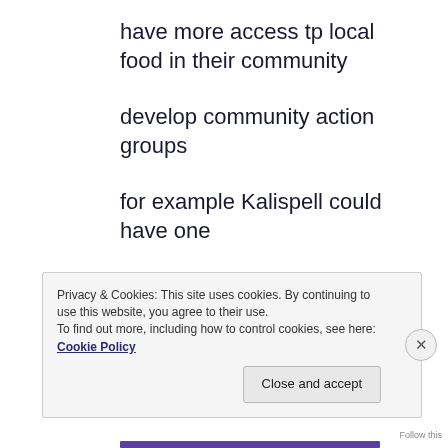have more access tp local food in their community
develop community action groups
for example Kalispell could have one
folks could talk about food access issues in their communities. Then the could set,
Privacy & Cookies: This site uses cookies. By continuing to use this website, you agree to their use. To find out more, including how to control cookies, see here: Cookie Policy
Close and accept